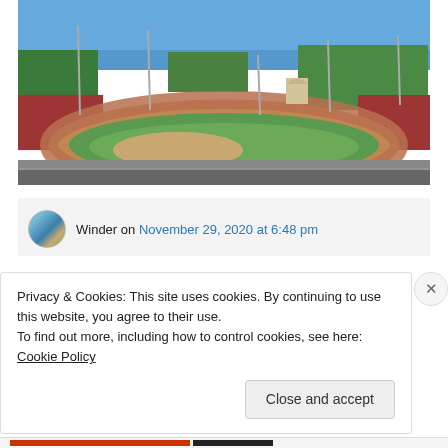[Figure (photo): Aerial view of a large athletics stadium with red running track, green infield, bleachers/stands on both sides, floodlight poles, trees and blue sky in background]
Winder on November 29, 2020 at 6:48 pm
Privacy & Cookies: This site uses cookies. By continuing to use this website, you agree to their use.
To find out more, including how to control cookies, see here: Cookie Policy
Close and accept